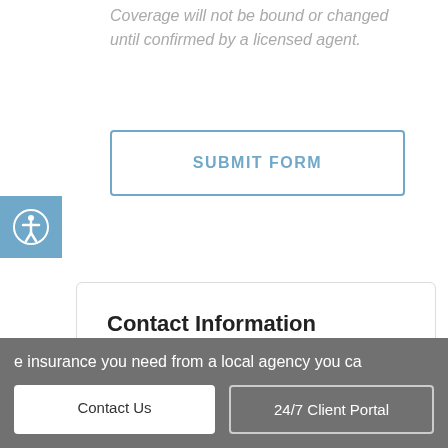Coverage will not be bound or changed until confirmed by a licensed agent.
SUBMIT FORM
[Figure (illustration): Blue accessibility icon button with person-in-circle symbol]
Contact Information
e insurance you need from a local agency you ca
Contact Us
24/7 Client Portal